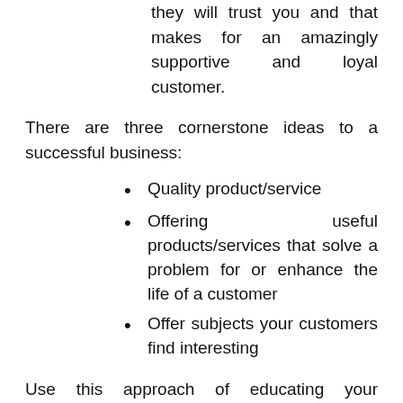they will trust you and that makes for an amazingly supportive and loyal customer.
There are three cornerstone ideas to a successful business:
Quality product/service
Offering useful products/services that solve a problem for or enhance the life of a customer
Offer subjects your customers find interesting
Use this approach of educating your customers and offering them real information and insight and you will be rewarded with loyalty and success.